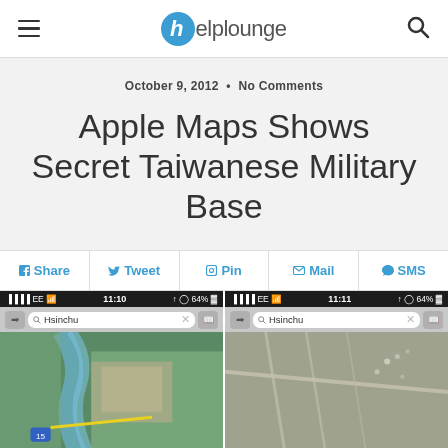helplounge
October 9, 2012 • No Comments
Apple Maps Shows Secret Taiwanese Military Base
Share  Tweet  Pin  Mail  SMS
[Figure (screenshot): Two iPhone screenshots side by side showing Apple Maps with Hsinchu search. Left screenshot shows satellite view at 11:10 with aerial/river view. Right screenshot shows satellite view at 11:11 with military base terrain view. Both show EE carrier, 64% battery.]